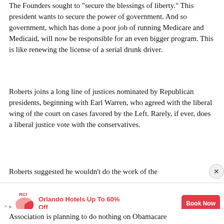The Founders sought to "secure the blessings of liberty." This president wants to secure the power of government. And so government, which has done a poor job of running Medicare and Medicaid, will now be responsible for an even bigger program. This is like renewing the license of a serial drunk driver.
Roberts joins a long line of justices nominated by Republican presidents, beginning with Earl Warren, who agreed with the liberal wing of the court on cases favored by the Left. Rarely, if ever, does a liberal justice vote with the conservatives.
Roberts suggested he wouldn't do the work of the
[Figure (screenshot): RCI advertisement banner: Orlando Hotels Up To 60% Off with Book Now button]
Association is planning to do nothing on Obamacare